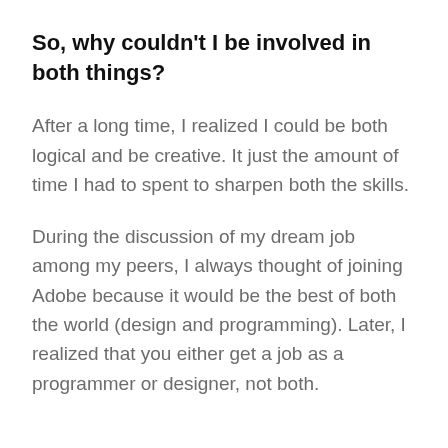So, why couldn't I be involved in both things?
After a long time, I realized I could be both logical and be creative. It just the amount of time I had to spent to sharpen both the skills.
During the discussion of my dream job among my peers, I always thought of joining Adobe because it would be the best of both the world (design and programming). Later, I realized that you either get a job as a programmer or designer, not both.